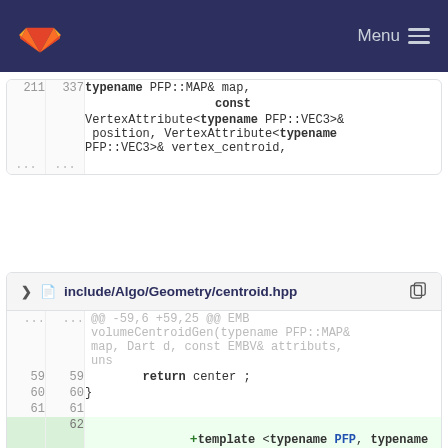GitLab Menu
| old | new | code |
| --- | --- | --- |
| 211 | 337 | typename PFP::MAP& map, |
|  |  | const |
|  |  | VertexAttribute<typename PFP::VEC3>& position, VertexAttribute<typename PFP::VEC3>& vertex_centroid, |
| ... | ... |  |
include/Algo/Geometry/centroid.hpp
| old | new | + | code |
| --- | --- | --- | --- |
| ... | ... |  | @@ -59,6 +59,25 @@ EMB volumeCentroidGen(typename PFP::MAP& map, Dart d, const EMBV& attributs, uns |
| 59 | 59 |  | return center ; |
| 60 | 60 |  | } |
| 61 | 61 |  |  |
|  | 62 | + | template <typename PFP, typename EMBV, typename EMB> |
|  | 63 | + | EMB volumeCentroidELWGen(typename PFP::MAP& map, Dart d, const EMBV& |